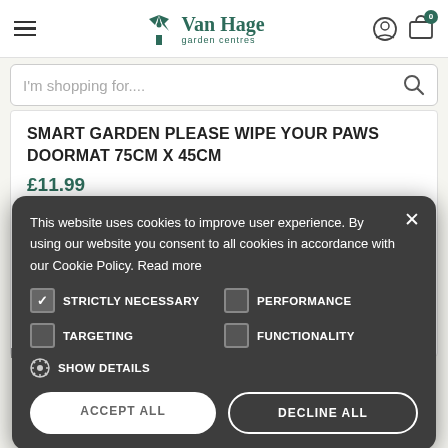Van Hage garden centres
I'm shopping for....
SMART GARDEN PLEASE WIPE YOUR PAWS DOORMAT 75CM X 45CM
£11.99
This website uses cookies to improve user experience. By using our website you consent to all cookies in accordance with our Cookie Policy. Read more
STRICTLY NECESSARY
PERFORMANCE
TARGETING
FUNCTIONALITY
SHOW DETAILS
ACCEPT ALL
DECLINE ALL
Join our community
No matter where you are, you can always be part of the Van Hage experience.